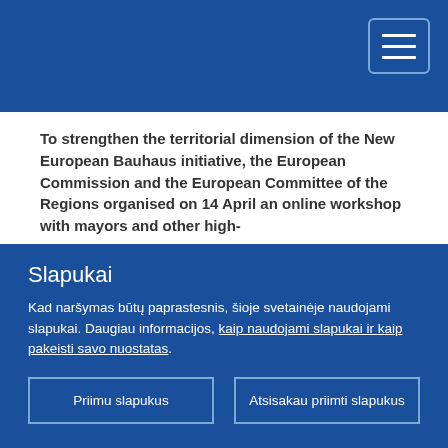To strengthen the territorial dimension of the New European Bauhaus initiative, the European Commission and the European Committee of the Regions organised on 14 April an online workshop with mayors and other high-
Slapukai
Kad naršymas būtų paprastesnis, šioje svetainėje naudojami slapukai. Daugiau informacijos, kaip naudojami slapukai ir kaip pakeisti savo nuostatas.
Priimu slapukus
Atsisakau priimti slapukus